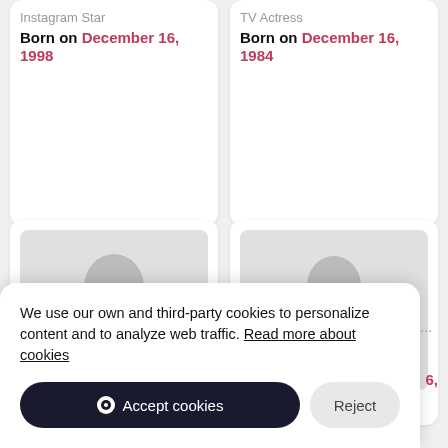Instagram Star
Born on December 16, 1998
TV Actress
Born on December 16, 1984
[Figure (illustration): Placeholder avatar silhouette (person, gray)]
[Figure (illustration): Placeholder avatar silhouette (person, gray)]
We use our own and third-party cookies to personalize content and to analyze web traffic. Read more about cookies
Accept cookies
Reject